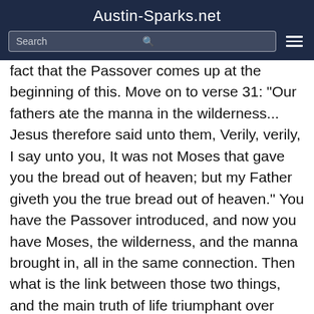Austin-Sparks.net
fact that the Passover comes up at the beginning of this. Move on to verse 31: "Our fathers ate the manna in the wilderness... Jesus therefore said unto them, Verily, verily, I say unto you, It was not Moses that gave you the bread out of heaven; but my Father giveth you the true bread out of heaven." You have the Passover introduced, and now you have Moses, the wilderness, and the manna brought in, all in the same connection. Then what is the link between those two things, and the main truth of life triumphant over death? Well, the Passover had a great deal to do with that. You are taken back into Egypt, back into the realm of